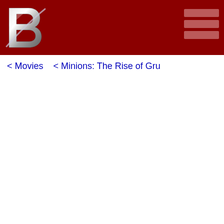B logo navigation header with nav buttons
< Movies   < Minions: The Rise of Gru